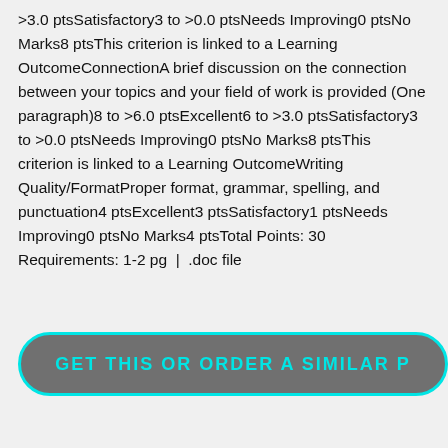>3.0 ptsSatisfactory3 to >0.0 ptsNeeds Improving0 ptsNo Marks8 ptsThis criterion is linked to a Learning OutcomeConnectionA brief discussion on the connection between your topics and your field of work is provided (One paragraph)8 to >6.0 ptsExcellent6 to >3.0 ptsSatisfactory3 to >0.0 ptsNeeds Improving0 ptsNo Marks8 ptsThis criterion is linked to a Learning OutcomeWriting Quality/FormatProper format, grammar, spelling, and punctuation4 ptsExcellent3 ptsSatisfactory1 ptsNeeds Improving0 ptsNo Marks4 ptsTotal Points: 30 Requirements: 1-2 pg  |  .doc file
GET THIS OR ORDER A SIMILAR P